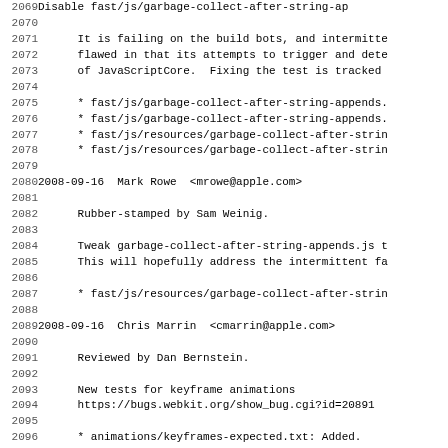2069  Disable fast/js/garbage-collect-after-string-ap
2070
2071        It is failing on the build bots, and intermitte
2072        flawed in that its attempts to trigger and dete
2073        of JavaScriptCore.  Fixing the test is tracked
2074
2075        * fast/js/garbage-collect-after-string-appends.
2076        * fast/js/garbage-collect-after-string-appends.
2077        * fast/js/resources/garbage-collect-after-strin
2078        * fast/js/resources/garbage-collect-after-strin
2079
2080  2008-09-16  Mark Rowe  <mrowe@apple.com>
2081
2082        Rubber-stamped by Sam Weinig.
2083
2084        Tweak garbage-collect-after-string-appends.js t
2085        This will hopefully address the intermittent fa
2086
2087        * fast/js/resources/garbage-collect-after-strin
2088
2089  2008-09-16  Chris Marrin  <cmarrin@apple.com>
2090
2091        Reviewed by Dan Bernstein.
2092
2093        New tests for keyframe animations
2094        https://bugs.webkit.org/show_bug.cgi?id=20891
2095
2096        * animations/keyframes-expected.txt: Added.
2097        * animations/keyframes-out-of-order-expected.tx
2098        * animations/keyframes-out-of-order.html: Adde
2099        * animations/keyframes.html: Added.
2100
2101  2008-09-16  Randy Fink  <rfink@apple.com>